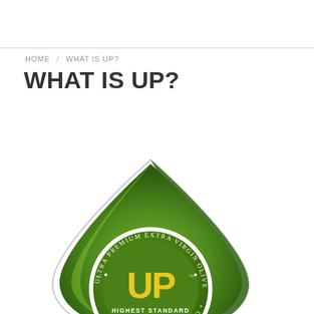HOME / WHAT IS UP?
WHAT IS UP?
[Figure (logo): UP (Ultra Premium Extra Virgin Olive Oil) certification logo — a green teardrop/leaf shape containing a circular badge with yellow 'UP' letters and the text 'ULTRA PREMIUM EXTRA VIRGIN OLIVE OIL' and 'HIGHEST STANDARD' around the badge]